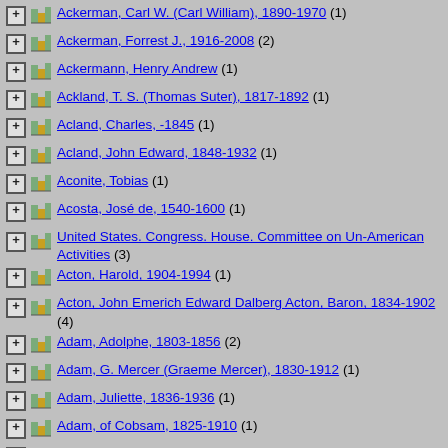Ackerman, Carl W. (Carl William), 1890-1970 (1)
Ackerman, Forrest J., 1916-2008 (2)
Ackermann, Henry Andrew (1)
Ackland, T. S. (Thomas Suter), 1817-1892 (1)
Acland, Charles, -1845 (1)
Acland, John Edward, 1848-1932 (1)
Aconite, Tobias (1)
Acosta, José de, 1540-1600 (1)
United States. Congress. House. Committee on Un-American Activities (3)
Acton, Harold, 1904-1994 (1)
Acton, John Emerich Edward Dalberg Acton, Baron, 1834-1902 (4)
Adam, Adolphe, 1803-1856 (2)
Adam, G. Mercer (Graeme Mercer), 1830-1912 (1)
Adam, Juliette, 1836-1936 (1)
Adam, of Cobsam, 1825-1910 (1)
Adam, Paul, 1849-1931 (1)